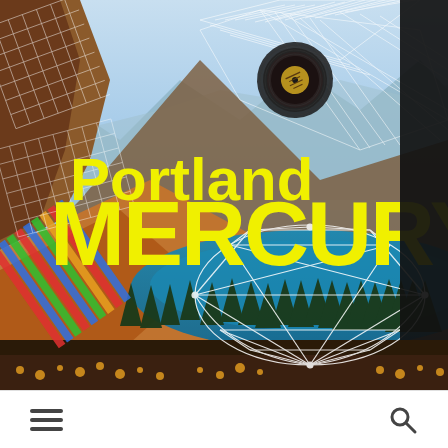[Figure (illustration): Portland Mercury featured artist page. A scenic mountain landscape photo with a blue alpine lake, pine trees, and autumn foliage. Overlaid with white geometric wireframe designs (diamond shapes, a geodesic sphere/dome shape, diagonal grid lines). In the upper right a dark background panel reads 'FEATURED ARTIST' in vertical white text. On the left side, colorful diagonal stripe graphic. Center-left has large yellow bold text reading 'Portland' then 'MERCURY' below it in massive yellow bold letters. Upper right area shows a floating vinyl record graphic.]
≡   🔍